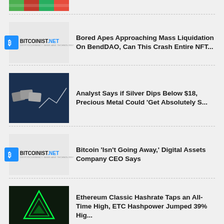[Figure (photo): Colorful striped image at top, partially visible]
Bored Apes Approaching Mass Liquidation On BendDAO, Can This Crash Entire NFT...
Analyst Says if Silver Dips Below $18, Precious Metal Could ‘Get Absolutely S...
Bitcoin ‘Isn’t Going Away,’ Digital Assets Company CEO Says
Ethereum Classic Hashrate Taps an All-Time High, ETC Hashpower Jumped 39% Hig...